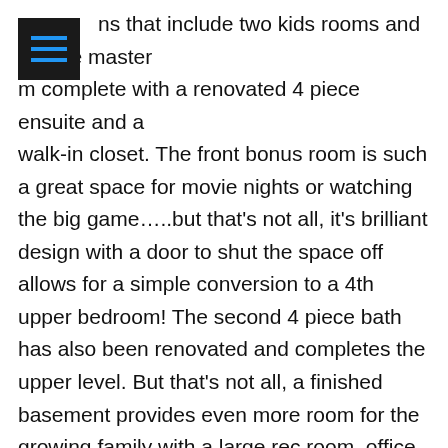ns that include two kids rooms and a large master m complete with a renovated 4 piece ensuite and a walk-in closet. The front bonus room is such a great space for movie nights or watching the big game.....but that's not all, it's brilliant design with a door to shut the space off allows for a simple conversion to a 4th upper bedroom!  The second 4 piece bath has also been renovated and completes the upper level. But that's not all, a finished basement provides even more room for the growing family with a large rec room, office or den to accommodate working from home & 4 piece bath.  And being a walkout lot provides access to your lower concrete patio and beautifully landscaped yard. The Central Air Conditioning ensures you'll be cool on those hot summer days and the double attached garage will keep cars warm and secure all year long. All this and conveniently located close to schools, the Lake and all the shops and restaurants Crowfoot has to offer. All that's left to do is move in!